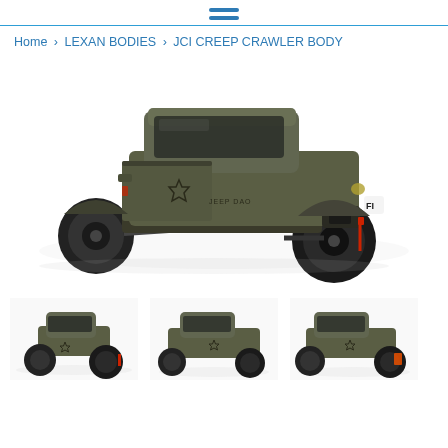hamburger menu icon
Home › LEXAN BODIES › JCI CREEP CRAWLER BODY
[Figure (photo): RC truck with olive/military green body, large off-road tires, star emblem on door, front winch, crawling stance — main product photo of JCI Creep Crawler Body]
[Figure (photo): Thumbnail 1: RC truck front-left angle, olive green, large tires]
[Figure (photo): Thumbnail 2: RC truck side angle, olive green]
[Figure (photo): Thumbnail 3: RC truck front-right angle, olive green]